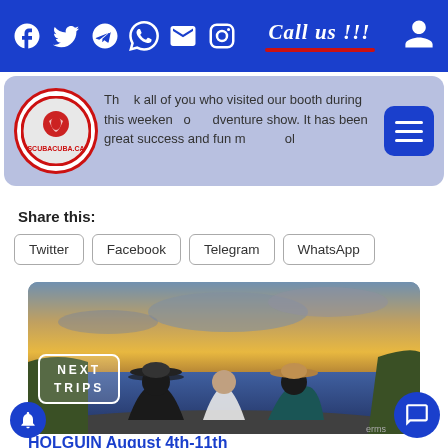Call us !!!
Thank all of you who visited our booth during this weekend outdoor adventure show. It has been great success and fun meeting all of you.
Share this:
Twitter
Facebook
Telegram
WhatsApp
[Figure (photo): Three people wearing hats sitting on rocks watching a sunset over the ocean]
NEXT TRIPS
HOLGUIN August 4th-11th